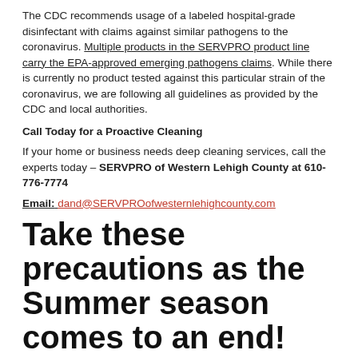The CDC recommends usage of a labeled hospital-grade disinfectant with claims against similar pathogens to the coronavirus. Multiple products in the SERVPRO product line carry the EPA-approved emerging pathogens claims. While there is currently no product tested against this particular strain of the coronavirus, we are following all guidelines as provided by the CDC and local authorities.
Call Today for a Proactive Cleaning
If your home or business needs deep cleaning services, call the experts today – SERVPRO of Western Lehigh County at 610-776-7774
Email: dand@SERVPROofwesternlehighcounty.com
Take these precautions as the Summer season comes to an end!
9/12/2019 (Permalink)